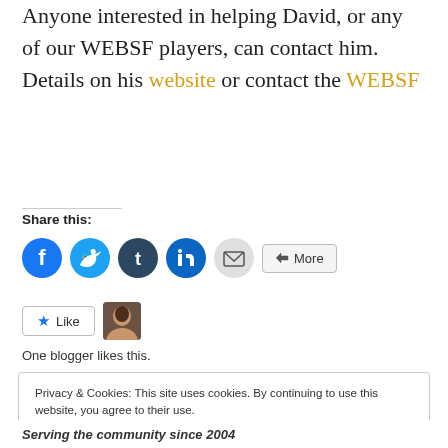Anyone interested in helping David, or any of our WEBSF players, can contact him. Details on his website or contact the WEBSF
Share this:
[Figure (other): Social share buttons: Facebook, Twitter, Tumblr, LinkedIn, Email icons and a More button]
[Figure (other): Like button with star icon and a blogger avatar photo]
One blogger likes this.
Privacy & Cookies: This site uses cookies. By continuing to use this website, you agree to their use. To find out more, including how to control cookies, see here: Cookie Policy
Close and accept
Serving the community since 2004